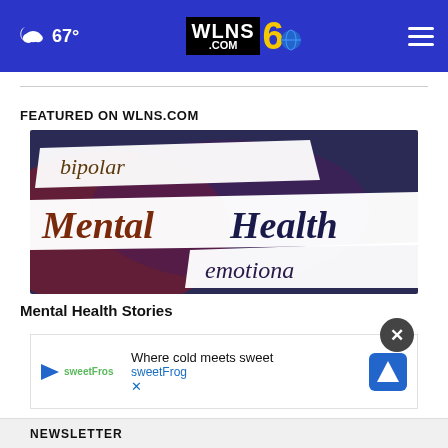67° WLNS 6 .COM
FEATURED ON WLNS.COM
[Figure (photo): Torn paper strips showing mental health related words: bipolar, Mental Health, emotional, on a dark blue/purple background]
Mental Health Stories
[Figure (screenshot): Advertisement banner for sweetFrog: 'Where cold meets sweet sweetFrog' with logo and navigation icon]
NEWSLETTER